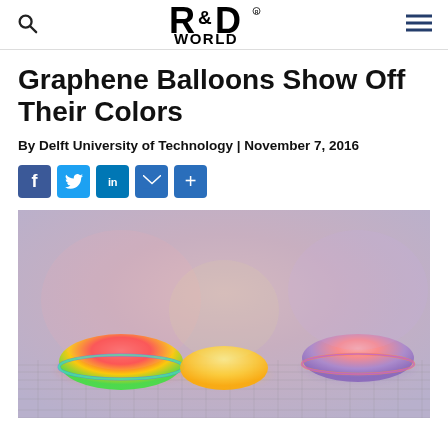R&D World
Graphene Balloons Show Off Their Colors
By Delft University of Technology | November 7, 2016
[Figure (infographic): Social media sharing icons: Facebook, Twitter, LinkedIn, Email, Share]
[Figure (photo): Colorful graphene balloons rendered in 3D, showing dome-shaped structures with rainbow-like coloration including green, red, blue, and yellow hues on a grid surface background]